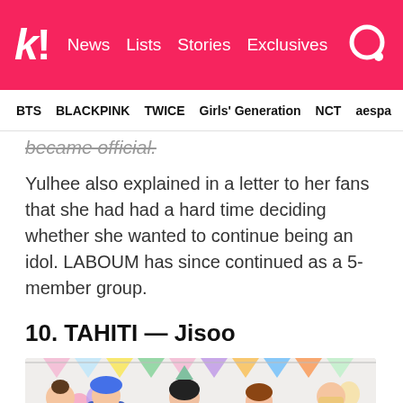k! News Lists Stories Exclusives
BTS BLACKPINK TWICE Girls' Generation NCT aespa
became official.
Yulhee also explained in a letter to her fans that she had had a hard time deciding whether she wanted to continue being an idol. LABOUM has since continued as a 5-member group.
10. TAHITI — Jisoo
[Figure (photo): Group photo of 5 young women in colorful outfits at a party-themed setting with balloons and bunting decorations]